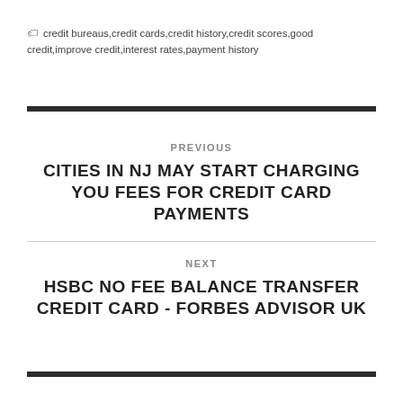🏷 credit bureaus,credit cards,credit history,credit scores,good credit,improve credit,interest rates,payment history
PREVIOUS
CITIES IN NJ MAY START CHARGING YOU FEES FOR CREDIT CARD PAYMENTS
NEXT
HSBC NO FEE BALANCE TRANSFER CREDIT CARD - FORBES ADVISOR UK